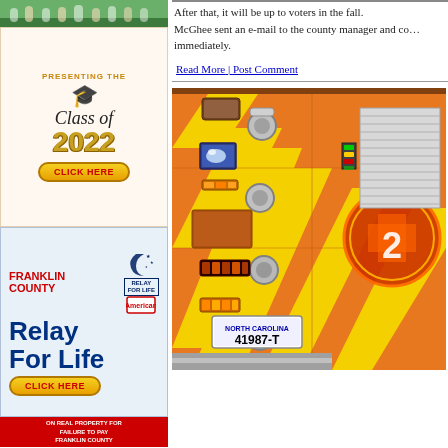[Figure (photo): Top strip image - partially visible photo at top of left column]
[Figure (illustration): Advertisement: Presenting the Class of 2022 - Click Here button with graduation cap graphic]
[Figure (illustration): Advertisement: Franklin County Relay For Life - Click Here button with moon and stars logo]
[Figure (illustration): Red advertisement banner: Advertisement of Tax Liens on Real Property for Failure to Pay Franklin County Town of Louisburg]
After that, it will be up to voters in the fall. McGhee sent an e-mail to the county manager and co... immediately.
Read More | Post Comment
[Figure (photo): Close-up photo of a fire truck side panel with orange and yellow diagonal stripe livery, various equipment handles, lights, and a North Carolina license plate reading 41987-T. A fire department badge/emblem is visible on the right side.]